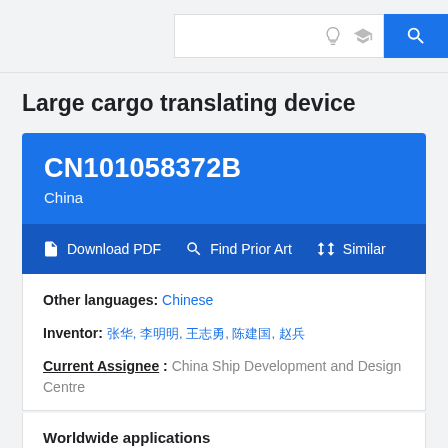Search bar with bulb icon, graduation cap icon, and search button
Large cargo translating device
CN101058372B
China
Download PDF  Find Prior Art  Similar
Other languages: Chinese
Inventor: 张华, 李明明, 王志勇, 陈建国, 赵兵
Current Assignee : China Ship Development and Design Centre
Worldwide applications
2007 · CN